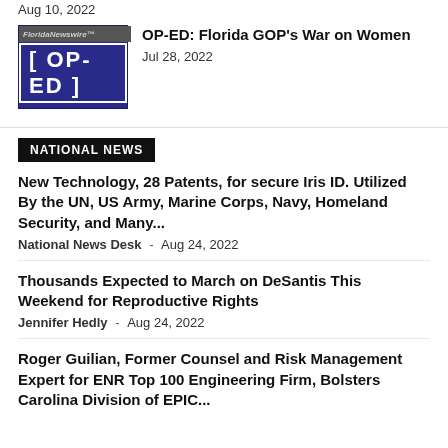Aug 10, 2022
[Figure (illustration): OP-ED thumbnail with blue background showing bracket-enclosed OP-ED text]
OP-ED: Florida GOP's War on Women
Jul 28, 2022
NATIONAL NEWS
New Technology, 28 Patents, for secure Iris ID. Utilized By the UN, US Army, Marine Corps, Navy, Homeland Security, and Many...
National News Desk  -  Aug 24, 2022
Thousands Expected to March on DeSantis This Weekend for Reproductive Rights
Jennifer Hedly  -  Aug 24, 2022
Roger Guilian, Former Counsel and Risk Management Expert for ENR Top 100 Engineering Firm, Bolsters Carolina Division of EPIC...